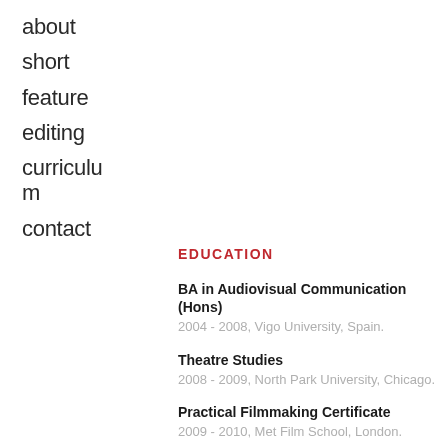about
short
feature
editing
curriculum
contact
EDUCATION
BA in Audiovisual Communication (Hons)
2004 - 2008, Vigo University, Spain.
Theatre Studies
2008 - 2009, North Park University, Chicago.
Practical Filmmaking Certificate
2009 - 2010, Met Film School, London.
MA Filmmaking (Hons)